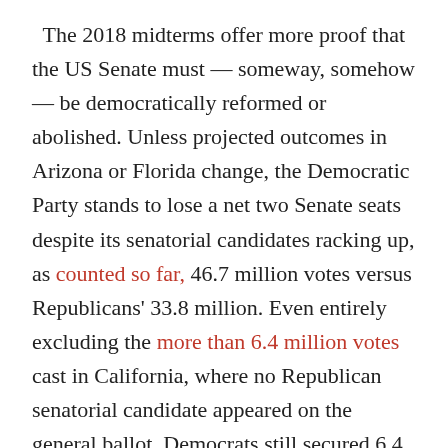The 2018 midterms offer more proof that the US Senate must — someway, somehow — be democratically reformed or abolished. Unless projected outcomes in Arizona or Florida change, the Democratic Party stands to lose a net two Senate seats despite its senatorial candidates racking up, as counted so far, 46.7 million votes versus Republicans' 33.8 million. Even entirely excluding the more than 6.4 million votes cast in California, where no Republican senatorial candidate appeared on the general ballot, Democrats still secured 6.4 million more votes nationally, an 8-percentage point lead. Yes, the 2018 Senate map was historically bad for